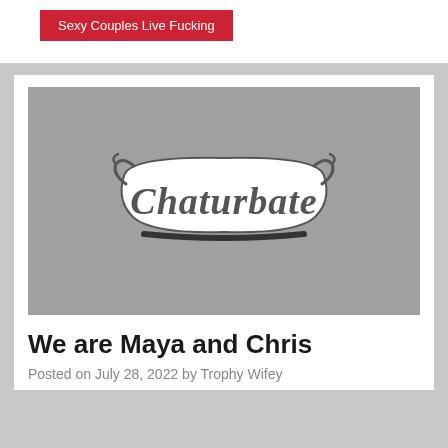Sexy Couples Live Fucking
[Figure (logo): Chaturbate logo on gray background]
We are Maya and Chris
Posted on July 28, 2022 by Trophy Wifey